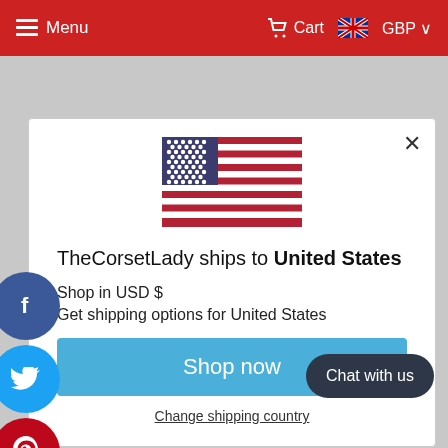Menu   Cart   GBP
[Figure (screenshot): Modal dialog showing US flag, shipping country selector for TheCorsetLady with Shop now button and Change shipping country link]
TheCorsetLady ships to United States
Shop in USD $
Get shipping options for United States
Shop now
Change shipping country
Chat with us
exclusive corset collection
fashion corsets